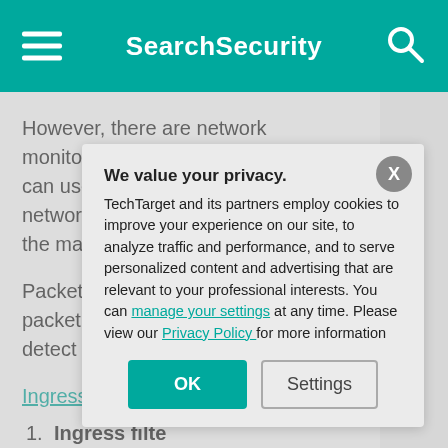SearchSecurity
However, there are network monitoring tools that organizations can use to perform traffic analysis at network endpoints. Packet filtering is the main way to do this.
Packet filtering s... and firewalls. Th... packet's IP addr... contained on ac... detect fraudulen...
Ingress filtering a... packet filtering:
1. Ingress filte... see if the so... source addre...
[Figure (screenshot): Privacy consent modal overlay with title 'We value your privacy.' and buttons OK and Settings]